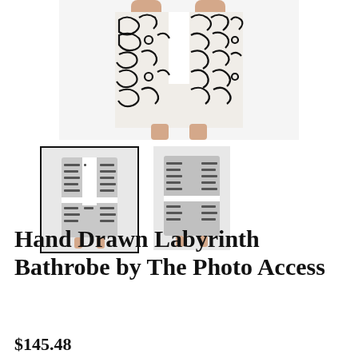[Figure (photo): Product listing page for a bathrobe with a black and white hand-drawn labyrinth pattern. Top portion shows a close-up of the robe pattern being held up. Below are two thumbnail images: left thumbnail (selected, with black border) shows the front view of the robe on a male model, right thumbnail shows the back view.]
Hand Drawn Labyrinth Bathrobe by The Photo Access
$145.48